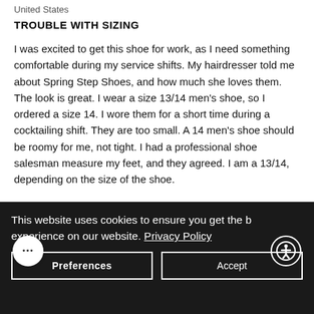United States
TROUBLE WITH SIZING
I was excited to get this shoe for work, as I need something comfortable during my service shifts. My hairdresser told me about Spring Step Shoes, and how much she loves them. The look is great. I wear a size 13/14 men's shoe, so I ordered a size 14. I wore them for a short time during a cocktailing shift. They are too small. A 14 men's shoe should be roomy for me, not tight. I had a professional shoe salesman measure my feet, and they agreed. I am a 13/14, depending on the size of the shoe.
This website uses cookies to ensure you get the best experience on our website. Privacy Policy
Preferences
Accept